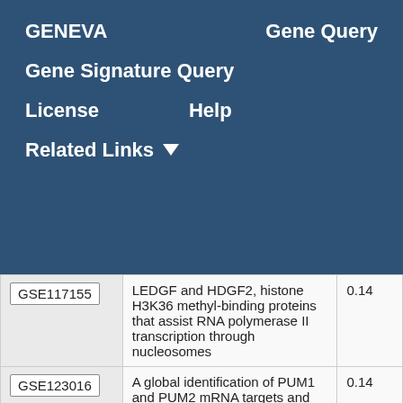GENEVA   Gene Query
Gene Signature Query
License   Help
Related Links ▾
| GSE ID | Description | Score |
| --- | --- | --- |
| GSE117155 | LEDGF and HDGF2, histone H3K36 methyl-binding proteins that assist RNA polymerase II transcription through nucleosomes | 0.14 |
| GSE123016 | A global identification of PUM1 and PUM2 mRNA targets and their protein | 0.14 |